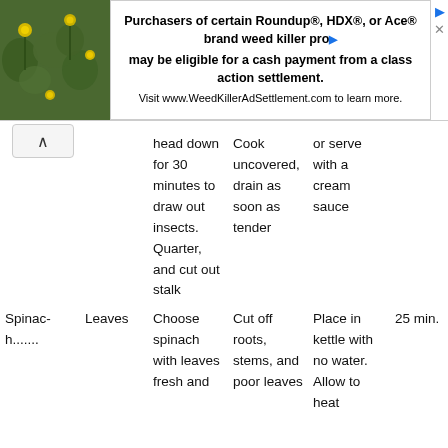[Figure (other): Advertisement banner for WeedKillerAdSettlement.com with plant image, text about Roundup, HDX, Ace brand weed killer class action settlement, and close/info icons.]
|  |  | Preparation | Preliminary
treatment | Cooking | Time | Serving |
| --- | --- | --- | --- | --- | --- | --- |
|  |  | head down for 30 minutes to draw out insects. Quarter, and cut out stalk | Cook uncovered, drain as soon as tender | or serve with a cream sauce |  |  |
| Spinach....... | Leaves | Choose spinach with leaves fresh and | Cut off roots, stems, and poor leaves | Place in kettle with no water. Allow to heat | 25 min. | Season with salt, pepper, and butter |